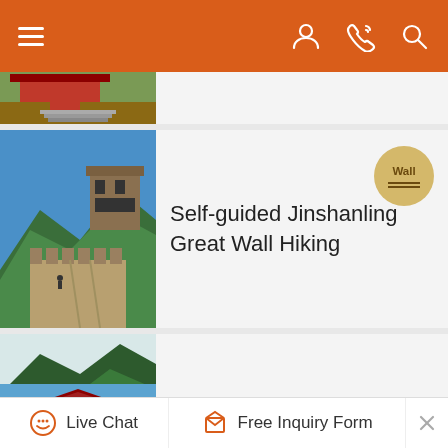Navigation bar with hamburger menu, user icon, phone icon, search icon
[Figure (photo): Partial view of a Chinese heritage site with red buildings and stone steps]
[Figure (photo): Great Wall of China at Jinshanling showing stone walkway, watchtower and mountains]
Self-guided Jinshanling Great Wall Hiking
[Figure (photo): Jiankou Great Wall section with lush green mountains and mist]
Independent Jiankou Great Wall Trip
[Figure (photo): Shanhaiguan fortress gate with stone walls and traditional Chinese architecture]
Shanhaiguan Great Wall & Beidaihe
Live Chat | Free Inquiry Form